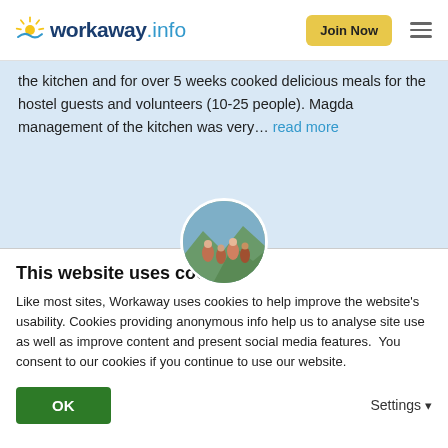workaway.info — Join Now
the kitchen and for over 5 weeks cooked delicious meals for the hostel guests and volunteers (10-25 people). Magda management of the kitchen was very... read more
[Figure (photo): Circular avatar photo showing a group of people outdoors on a trail or hillside]
★★★★★ (Excellent)
08/06/2017
Left by Workawayer (Magdalena) for host
This website uses cookies
Like most sites, Workaway uses cookies to help improve the website's usability. Cookies providing anonymous info help us to analyse site use as well as improve content and present social media features.  You consent to our cookies if you continue to use our website.
OK    Settings